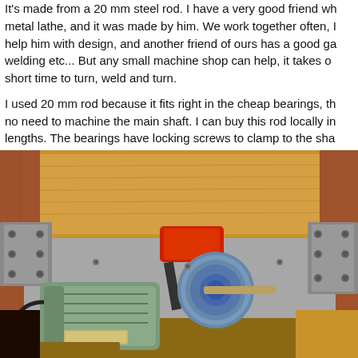It's made from a 20 mm steel rod. I have a very good friend who has a metal lathe, and it was made by him. We work together often, I help him with design, and another friend of ours has a good garage for welding etc... But any small machine shop can help, it takes only a short time to turn, weld and turn.
I used 20 mm rod because it fits right in the cheap bearings, there is no need to machine the main shaft. I can buy this rod locally in various lengths. The bearings have locking screws to clamp to the sha...
[Figure (photo): Interior view of a wooden workshop machine showing metal hinges, pulleys, belts, an electric motor (green/grey), and wooden framing. The machine appears to be a home-built wood lathe or similar device with metal components mounted on a wooden base.]